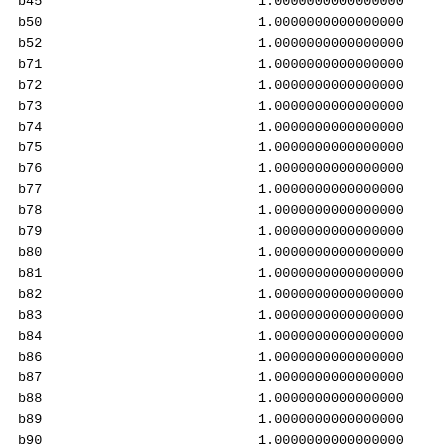| variable | value |
| --- | --- |
| b45 | 1.0000000000000000 |
| b50 | 1.0000000000000000 |
| b52 | 1.0000000000000000 |
| b71 | 1.0000000000000000 |
| b72 | 1.0000000000000000 |
| b73 | 1.0000000000000000 |
| b74 | 1.0000000000000000 |
| b75 | 1.0000000000000000 |
| b76 | 1.0000000000000000 |
| b77 | 1.0000000000000000 |
| b78 | 1.0000000000000000 |
| b79 | 1.0000000000000000 |
| b80 | 1.0000000000000000 |
| b81 | 1.0000000000000000 |
| b82 | 1.0000000000000000 |
| b83 | 1.0000000000000000 |
| b84 | 1.0000000000000000 |
| b86 | 1.0000000000000000 |
| b87 | 1.0000000000000000 |
| b88 | 1.0000000000000000 |
| b89 | 1.0000000000000000 |
| b90 | 1.0000000000000000 |
| b94 | 1.0000000000000000 |
| b95 | 1.0000000000000000 |